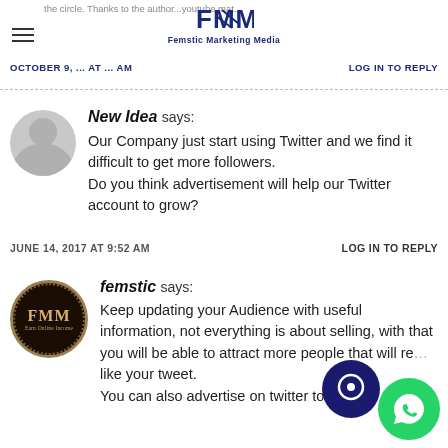FMM Femstic Marketing Media | OCTOBER ... | LOG IN TO REPLY
New Idea says:
Our Company just start using Twitter and we find it difficult to get more followers.
Do you think advertisement will help our Twitter account to grow?
JUNE 14, 2017 AT 9:52 AM   LOG IN TO REPLY
femstic says:
Keep updating your Audience with useful information, not everything is about selling, with that you will be able to attract more people that will re... like your tweet.
You can also advertise on twitter to reach